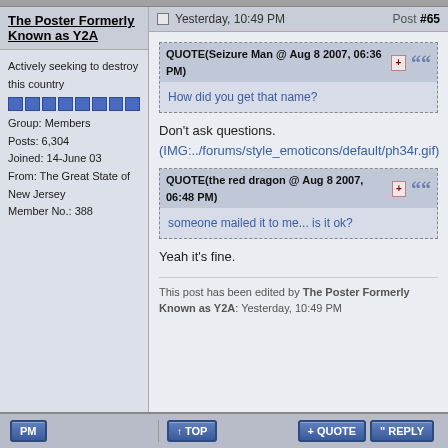The Poster Formerly Known as Y2A
Yesterday, 10:49 PM
Post #65
Actively seeking to destroy this country
Group: Members
Posts: 6,304
Joined: 14-June 03
From: The Great State of New Jersey
Member No.: 388
QUOTE(Seizure Man @ Aug 8 2007, 06:36 PM)
How did you get that name?
Don't ask questions.
(IMG:../forums/style_emoticons/default/ph34r.gif)
QUOTE(the red dragon @ Aug 8 2007, 06:48 PM)
someone mailed it to me... is it ok?
Yeah it's fine.
This post has been edited by The Poster Formerly Known as Y2A: Yesterday, 10:49 PM